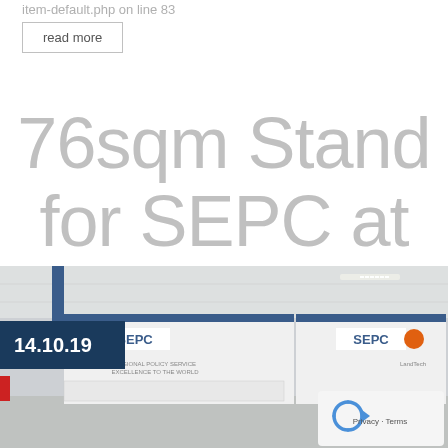item-default.php on line 83
read more
76sqm Stand for SEPC at MIPCOM
[Figure (photo): Exhibition hall photo showing SEPC branded booths/stands at MIPCOM trade fair, with date badge showing 14.10.19 and a reCAPTCHA privacy badge in the lower right corner.]